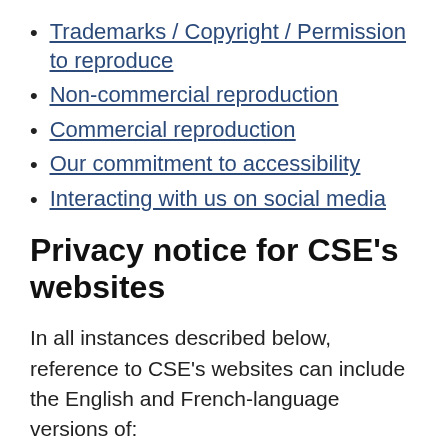Trademarks / Copyright / Permission to reproduce
Non-commercial reproduction
Commercial reproduction
Our commitment to accessibility
Interacting with us on social media
Privacy notice for CSE's websites
In all instances described below, reference to CSE's websites can include the English and French-language versions of:
cse-cst.gc.ca